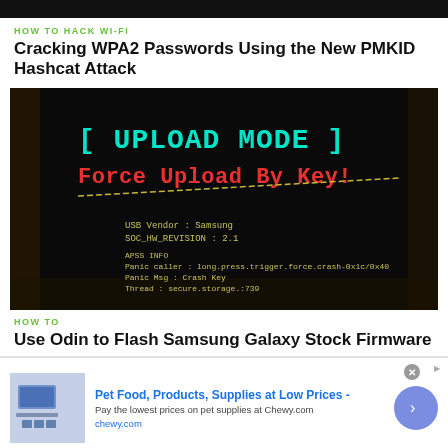HOW TO HACK WI-FI
Cracking WPA2 Passwords Using the New PMKID Hashcat Attack
[Figure (screenshot): Dark screen showing Samsung device upload mode: '[ UPLOAD MODE ]' in cyan text and 'Force Upload By Key!' in red text, with device info including USB Vendor: Samsung, SOC_HW_REVISION: 2.1, APSS INFO, Panic caller, Panic Msg: Crash Key, Thread: secure.storage.:739]
HOW TO
Use Odin to Flash Samsung Galaxy Stock Firmware
[Figure (screenshot): Advertisement banner: Pet Food, Products, Supplies at Low Prices - chewy.com, with blue arrow button and ad icon area]
Pet Food, Products, Supplies at Low Prices -
Pay the lowest prices on pet supplies at Chewy.com
chewy.com